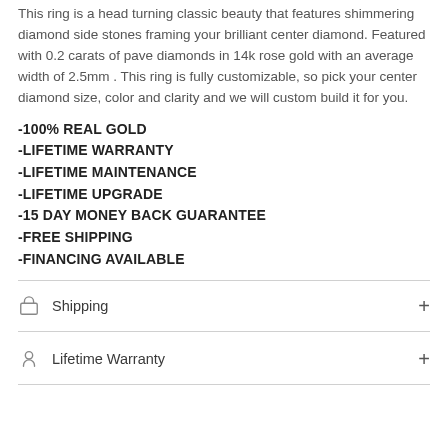This ring is a head turning classic beauty that features shimmering diamond side stones framing your brilliant center diamond. Featured with 0.2 carats of pave diamonds in 14k rose gold with an average width of 2.5mm . This ring is fully customizable, so pick your center diamond size, color and clarity and we will custom build it for you.
-100% REAL GOLD
-LIFETIME WARRANTY
-LIFETIME MAINTENANCE
-LIFETIME UPGRADE
-15 DAY MONEY BACK GUARANTEE
-FREE SHIPPING
-FINANCING AVAILABLE
Shipping
Lifetime Warranty